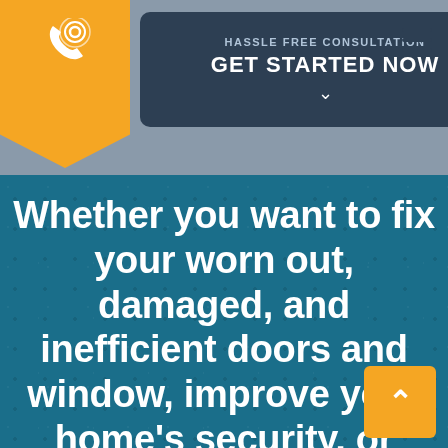[Figure (screenshot): Website header with orange phone badge on left, dark teal 'HASSLE FREE CONSULTATION / GET STARTED NOW' CTA button in center, hamburger menu icon on right, on grey background]
HASSLE FREE CONSULTATION
GET STARTED NOW
Whether you want to fix your worn out, damaged, and inefficient doors and window, improve your home's security, or upgrade your home's overall aesthetics; replacing your